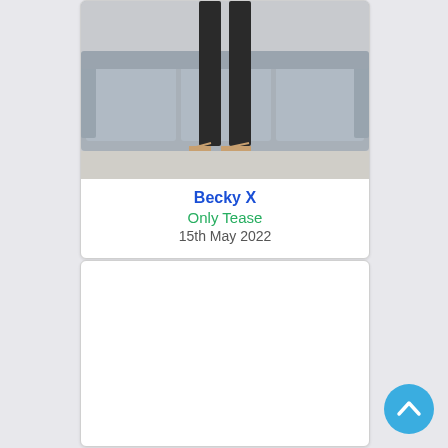[Figure (photo): Photo showing legs in dark stockings and strappy heels standing in front of a grey couch. Watermark text visible in lower right corner.]
Becky X
Only Tease
15th May 2022
[Figure (photo): Second card, content not visible (white/blank area)]